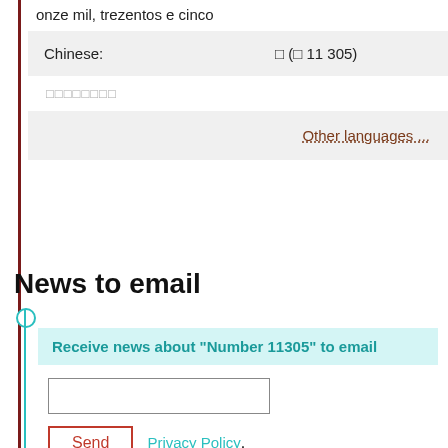onze mil, trezentos e cinco
| Chinese: | □ (□ 11 305) |
| --- | --- |
□□□□□□□□
Other languages ...
News to email
Receive news about "Number 11305" to email
Send  Privacy Policy.